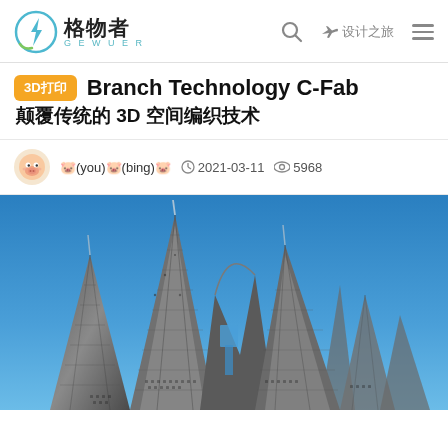格物者 GEWUER — 设计之旅
3D打印 Branch Technology C-Fab 颠覆传统的 3D 空间编织技术
🐷(you)🐷(bing)🐷 · 2021-03-11 · 5968 views
[Figure (photo): Architectural structure made of latticed 3D-printed metal panels rising against a blue sky, showing complex branching mesh geometry typical of Branch Technology C-Fab process.]